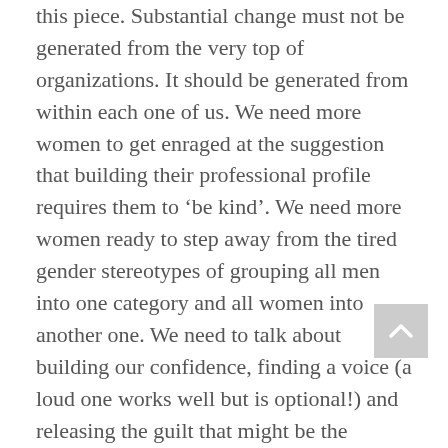this piece. Substantial change must not be generated from the very top of organizations. It should be generated from within each one of us. We need more women to get enraged at the suggestion that building their professional profile requires them to ‘be kind’. We need more women ready to step away from the tired gender stereotypes of grouping all men into one category and all women into another one. We need to talk about building our confidence, finding a voice (a loud one works well but is optional!) and releasing the guilt that might be the bottleneck of our potential success.
In short, if you gain absolutely nothing else from my post, I implore you to at the very least dress in whatever the heck you want. Whether you are a man or a woman, give it a shot. I promise – it will